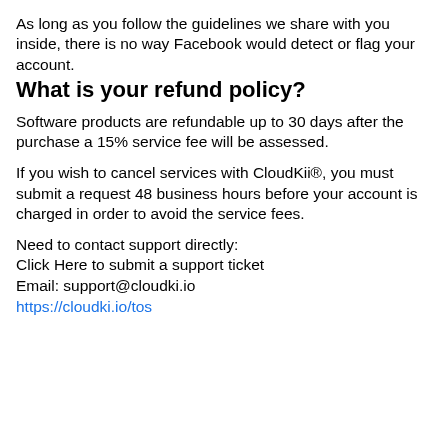As long as you follow the guidelines we share with you inside, there is no way Facebook would detect or flag your account.
What is your refund policy?
Software products are refundable up to 30 days after the purchase a 15% service fee will be assessed.
If you wish to cancel services with CloudKii®, you must submit a request 48 business hours before your account is charged in order to avoid the service fees.
Need to contact support directly:
Click Here to submit a support ticket
Email: support@cloudki.io
https://cloudki.io/tos